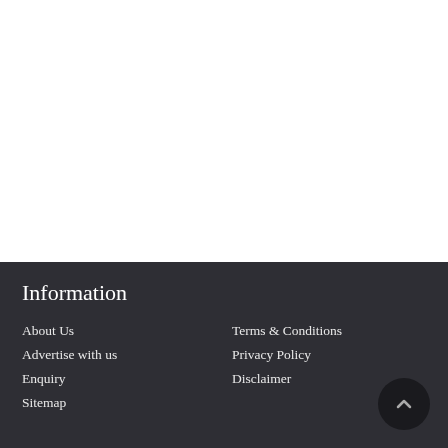Information
About Us | Terms & Conditions
Advertise with us | Privacy Policy
Enquiry | Disclaimer
Sitemap